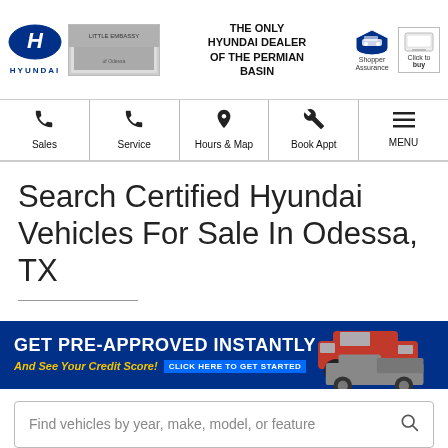[Figure (logo): Hyundai logo (blue oval H) with text HYUNDAI below, dealer banner image to right, center text THE ONLY HYUNDAI DEALER OF THE PERMIAN BASIN, Shopper Assurance badge, Click to Buy icon]
[Figure (other): Navigation bar with icons: Sales (phone), Service (phone), Hours & Map (map pin), Book Appt (wrench), MENU (hamburger)]
Search Certified Hyundai Vehicles For Sale In Odessa, TX
[Figure (infographic): GET PRE-APPROVED INSTANTLY banner with subtext: And See Your Credit Score! CLICK HERE TO GET STARTED, with car image on right side]
Find vehicles by year, make, model, or feature